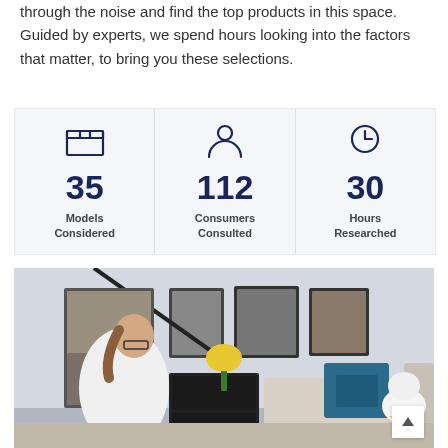through the noise and find the top products in this space. Guided by experts, we spend hours looking into the factors that matter, to bring you these selections.
[Figure (infographic): Three-column statistics infographic with icons: 35 Models Considered, 112 Consumers Consulted, 30 Hours Researched]
[Figure (photo): A woman in a white long-sleeve shirt examining a dark appliance/mini fridge in a living room setting with framed prints on the wall, a couch with blue pillow, and a small white dog wearing a yellow bandana.]